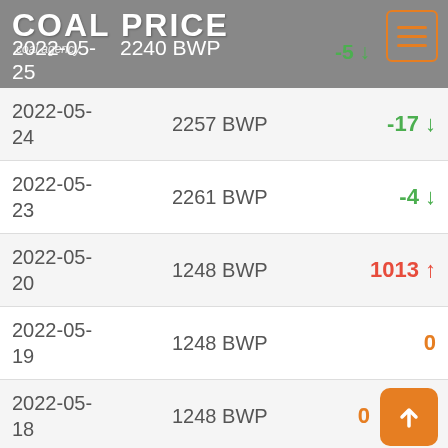COAL PRICE
coal agency
| Date | Price | Change |
| --- | --- | --- |
| 2022-05-25 | 2240 BWP | -5↓ |
| 2022-05-24 | 2257 BWP | -17↓ |
| 2022-05-23 | 2261 BWP | -4↓ |
| 2022-05-20 | 1248 BWP | 1013↑ |
| 2022-05-19 | 1248 BWP | 0 |
| 2022-05-18 | 1248 BWP | 0 |